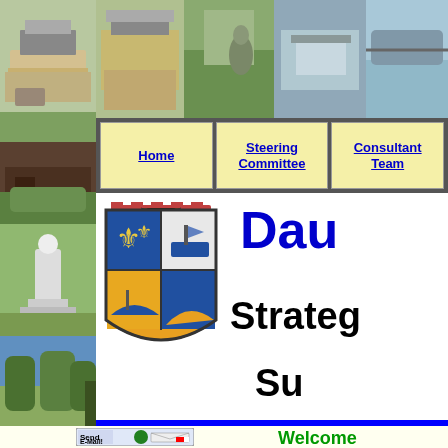[Figure (photo): Left sidebar with multiple outdoor and landscape photos of Dauphin Island]
[Figure (photo): Top banner with multiple photos: pavilion, garden with bird, Dauphin Island sign, bridge]
Home | Steering Committee | Consultant Team
[Figure (illustration): Town of Dauphin Island coat of arms / crest]
Dau Strategic Su
[Figure (other): Send E-Mail button graphic with email icon]
e-mail this site to a friend
Welcome
The Town of Dauphin i...